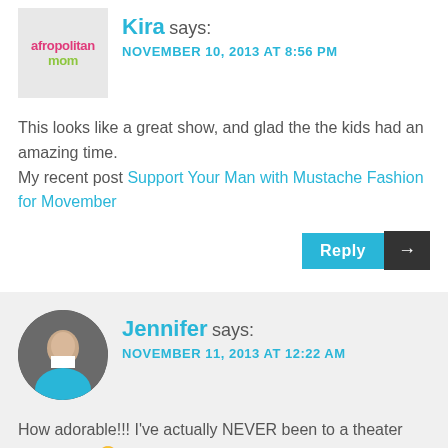Kira says: NOVEMBER 10, 2013 AT 8:56 PM
This looks like a great show, and glad the the kids had an amazing time. My recent post Support Your Man with Mustache Fashion for Movember
Reply →
Jennifer says: NOVEMBER 11, 2013 AT 12:22 AM
How adorable!!! I've actually NEVER been to a theater show at all 😊 I know, it's sad. I would really love to go see at least one.